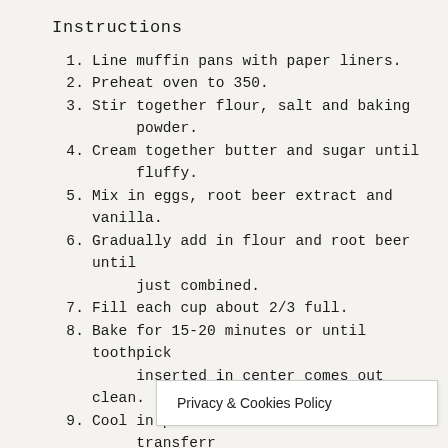Instructions
1. Line muffin pans with paper liners.
2. Preheat oven to 350.
3. Stir together flour, salt and baking powder.
4. Cream together butter and sugar until fluffy.
5. Mix in eggs, root beer extract and vanilla.
6. Gradually add in flour and root beer until just combined.
7. Fill each cup about 2/3 full.
8. Bake for 15-20 minutes or until toothpick inserted in center comes out clean.
9. Cool in pan for 10 minutes before transferr... [continues] complete...
Privacy & Cookies Policy